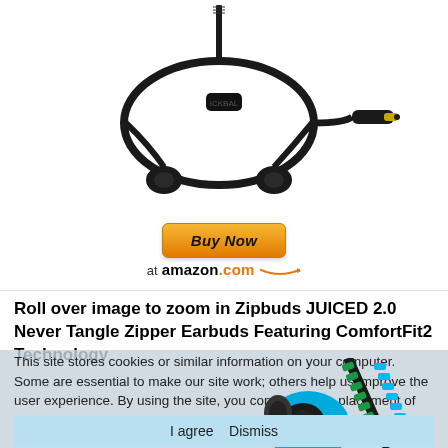[Figure (photo): Black wired earbuds with flat cable coiled, showing 3.5mm gold audio jack on white background]
[Figure (screenshot): Buy Now at amazon.com button with orange gradient and Amazon smile logo]
Roll over image to zoom in Zipbuds JUICED 2.0 Never Tangle Zipper Earbuds Featuring ComfortFit2 Technology
This site stores cookies or similar information on your computer. Some are essential to make our site work; others help us improve the user experience. By using the site, you consent to the placement of these cookies.
[Figure (photo): Blue Zipbuds earbuds with zipper cable design partially visible]
I agree  Dismiss